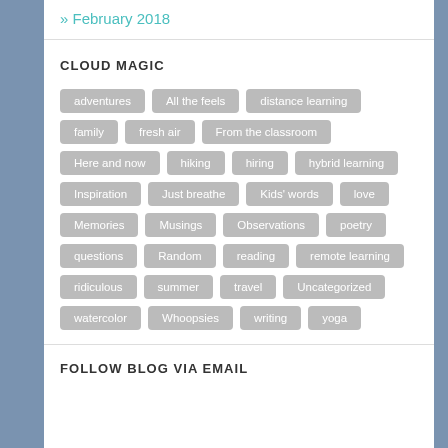» February 2018
CLOUD MAGIC
adventures
All the feels
distance learning
family
fresh air
From the classroom
Here and now
hiking
hiring
hybrid learning
Inspiration
Just breathe
Kids' words
love
Memories
Musings
Observations
poetry
questions
Random
reading
remote learning
ridiculous
summer
travel
Uncategorized
watercolor
Whoopsies
writing
yoga
FOLLOW BLOG VIA EMAIL